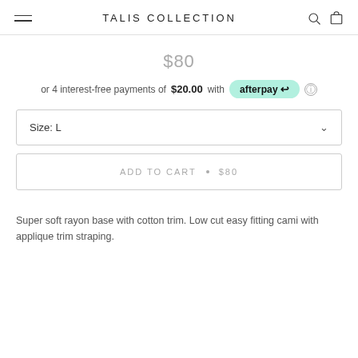TALIS COLLECTION
$80
or 4 interest-free payments of $20.00 with afterpay
Size: L
ADD TO CART • $80
Super soft rayon base with cotton trim. Low cut easy fitting cami with applique trim straping.